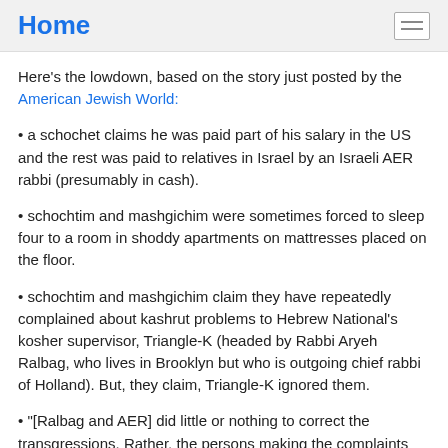Home
Here's the lowdown, based on the story just posted by the American Jewish World:
a schochet claims he was paid part of his salary in the US and the rest was paid to relatives in Israel by an Israeli AER rabbi (presumably in cash).
schochtim and mashgichim were sometimes forced to sleep four to a room in shoddy apartments on mattresses placed on the floor.
schochtim and mashgichim claim they have repeatedly complained about kashrut problems to Hebrew National's kosher supervisor, Triangle-K (headed by Rabbi Aryeh Ralbag, who lives in Brooklyn but who is outgoing chief rabbi of Holland). But, they claim, Triangle-K ignored them.
"[Ralbag and AER] did little or nothing to correct the transgressions. Rather, the persons making the complaints were terminated or otherwise threatened with adverse retaliation, such as job transfers to other facilities or states. In turn, non-kosher meat was delivered to ConAgra and packaged, labeled and sold to the public [including the plaintiffs in the lawsuit] as strictly 100% kosher," a class action lawsuit filed in May